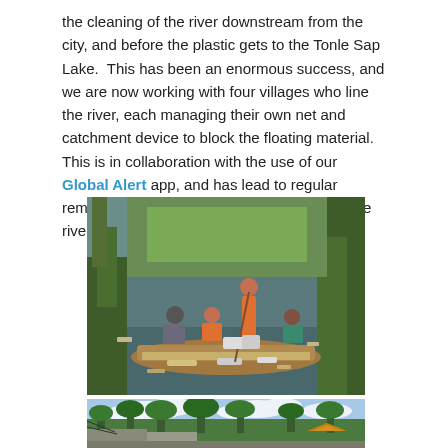the cleaning of the river downstream from the city, and before the plastic gets to the Tonle Sap Lake. This has been an enormous success, and we are now working with four villages who line the river, each managing their own net and catchment device to block the floating material. This is in collaboration with the use of our Global Alert app, and has lead to regular removal of material on a weekly basis from the river.
[Figure (photo): People in a wooden boat collecting plastic waste and debris from a heavily polluted river surrounded by vegetation and debris.]
[Figure (photo): View of a riverside area with palm trees, tropical vegetation, buildings with traditional roofs, and a cloudy blue sky.]